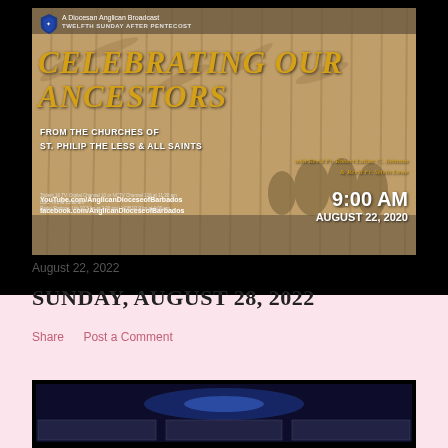[Figure (photo): A Diocesan Anglican Broadcast promotional image for 'Celebrating Our Ancestors' — Twelfth Sunday After Pentecost, from the Churches of St. Philip the Less & All Saints, with Rev'd Fr. Robert Luther C. Johnson & Rev'd Fr. Selvin Lowe. 9:00 AM August 22, 2020. YouTube.com/AnglicanDioceseofBarbados, facebook.com/AnglicanDioceseofBarbados. Background shows a sepia-toned photo of workers in a sugarcane field.]
August 22, 2022
SUNDAY, AUGUST 28, 2022
Share    Post a Comment
[Figure (screenshot): A second broadcast video thumbnail with dark background and thumbnail images at bottom.]